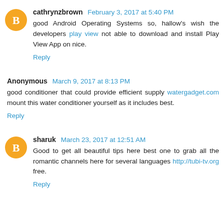cathrynzbrown February 3, 2017 at 5:40 PM
good Android Operating Systems so, hallow's wish the developers play view not able to download and install Play View App on nice.
Reply
Anonymous March 9, 2017 at 8:13 PM
good conditioner that could provide efficient supply watergadget.com mount this water conditioner yourself as it includes best.
Reply
sharuk March 23, 2017 at 12:51 AM
Good to get all beautiful tips here best one to grab all the romantic channels here for several languages http://tubi-tv.org free.
Reply